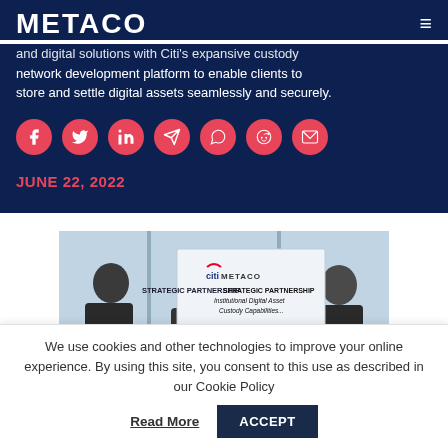METACO
and digital solutions with Citi's expansive custody network development platform to enable clients to store and settle digital assets seamlessly and securely.
[Figure (infographic): Row of seven pink/red circular social media share buttons: Facebook, Twitter, LinkedIn, Telegram, WhatsApp, Reddit, Email]
JUNE 22, 2022
[Figure (photo): Four people standing in front of a banner reading 'citi METACO STRATEGIC PARTNERSHIP Institutional Digital Asset Custody Capabilities' in a modern office setting]
We use cookies and other technologies to improve your online experience. By using this site, you consent to this use as described in our Cookie Policy
Read More
ACCEPT